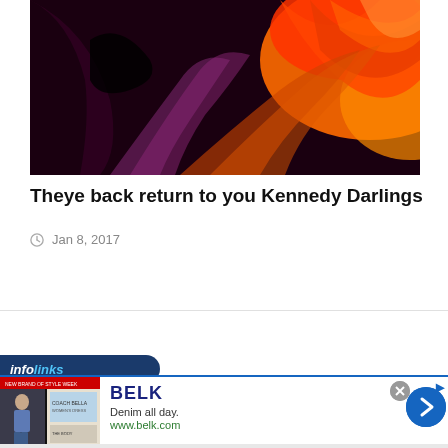[Figure (photo): Abstract swirling canyon rock formation with vivid red, orange, purple and black colors, resembling Antelope Canyon.]
Theye back return to you Kennedy Darlings
Jan 8, 2017
[Figure (infographic): Infolinks advertisement banner with BELK brand ad. Shows 'Denim all day. www.belk.com' with fashion images on the left and a blue circular arrow button on the right.]